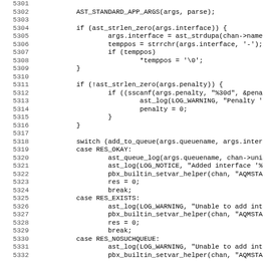[Figure (screenshot): Source code listing in monospace font showing lines 5301-5332 of a C program involving queue management functions including AST_STANDARD_APP_ARGS, ast_strlen_zero, sscanf, ast_log, switch statement with cases RES_OKAY, RES_EXISTS, RES_NOSUCHQUEUE]